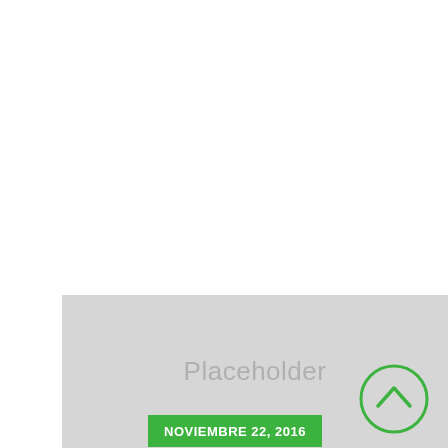[Figure (other): Gray placeholder image block with the text 'Placeholder' in the center, an up-arrow circle icon at the right side, and a green date badge reading 'NOVIEMBRE 22, 2016' at the bottom left.]